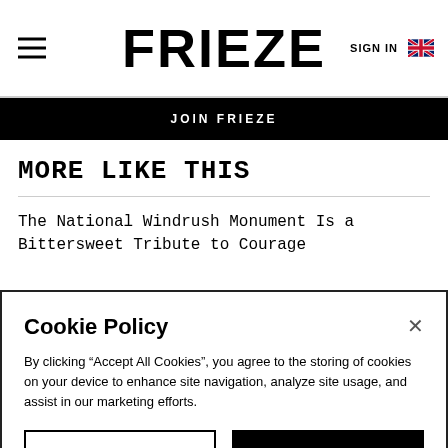FRIEZE
JOIN FRIEZE
MORE LIKE THIS
The National Windrush Monument Is a Bittersweet Tribute to Courage
Cookie Policy
By clicking “Accept All Cookies”, you agree to the storing of cookies on your device to enhance site navigation, analyze site usage, and assist in our marketing efforts.
Cookies Settings
Accept All Cookies